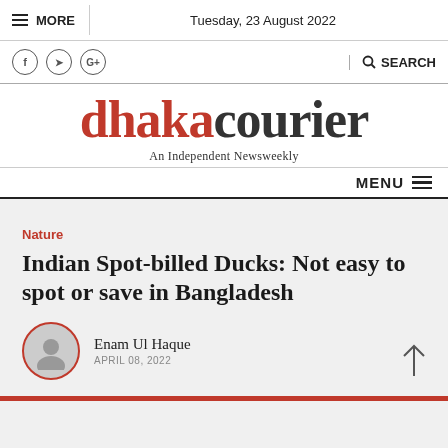MORE   Tuesday, 23 August 2022
f  t  G+   SEARCH
dhakacourier — An Independent Newsweekly
MENU
Nature
Indian Spot-billed Ducks: Not easy to spot or save in Bangladesh
Enam Ul Haque
APRIL 08, 2022